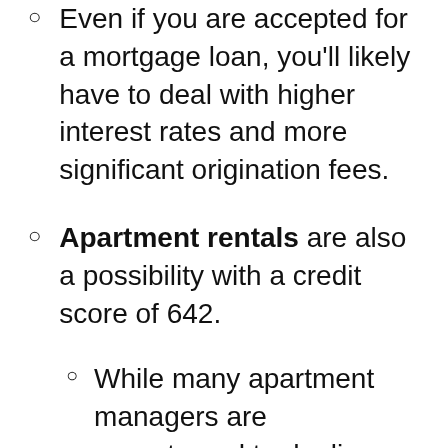Even if you are accepted for a mortgage loan, you'll likely have to deal with higher interest rates and more significant origination fees.
Apartment rentals are also a possibility with a credit score of 642.
While many apartment managers are accustomed to dealing with lower credit scores, your 642 credit rating isn't high enough to gain you access to every